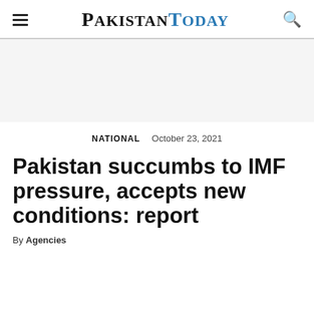Pakistan Today
NATIONAL  October 23, 2021
Pakistan succumbs to IMF pressure, accepts new conditions: report
By Agencies